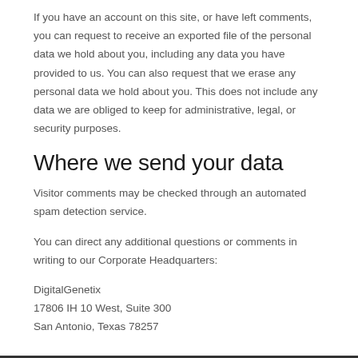If you have an account on this site, or have left comments, you can request to receive an exported file of the personal data we hold about you, including any data you have provided to us. You can also request that we erase any personal data we hold about you. This does not include any data we are obliged to keep for administrative, legal, or security purposes.
Where we send your data
Visitor comments may be checked through an automated spam detection service.
You can direct any additional questions or comments in writing to our Corporate Headquarters:
DigitalGenetix
17806 IH 10 West, Suite 300
San Antonio, Texas 78257